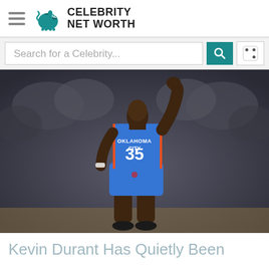Celebrity Net Worth
Search for a Celebrity...
[Figure (photo): Kevin Durant wearing Oklahoma City Thunder jersey number 35, raising his fist, with crowd in background]
Kevin Durant Has Quietly Been